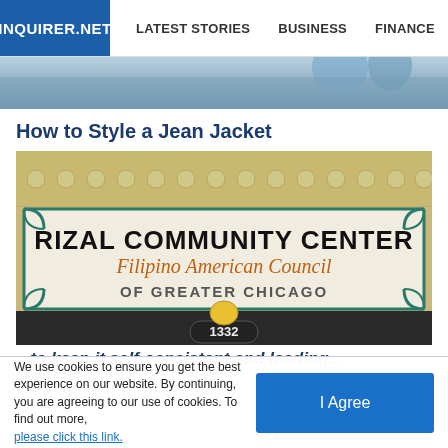INQUIRER.NET | LATEST STORIES | BUSINESS | FINANCE | TECHNOLO
[Figure (photo): Top strip showing partial image of people, cropped at top of the page]
How to Style a Jean Jacket
[Figure (photo): Photo of the Rizal Community Center building sign reading 'RIZAL COMMUNITY CENTER Filipino American Council OF GREATER CHICAGO' with address number 1332 visible at the bottom]
We use cookies to ensure you get the best experience on our website. By continuing, you are agreeing to our use of cookies. To find out more, please click this link.